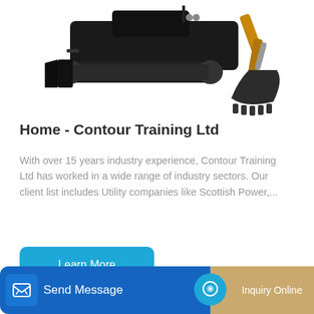[Figure (photo): Two pieces of construction/excavation machinery: a tracked dozer/plow (left) and an excavator bucket (right), on white background]
Home - Contour Training Ltd
With over 15 years industry experience, Contour Training Ltd has worked in a wide range of industry sectors. Our client list includes Utility companies like Scottish Power,...
[Figure (illustration): Blue 'Learn More' button]
[Figure (photo): Teal/green mini excavator (Kubota) partially visible at the bottom of the page]
[Figure (infographic): Bottom action bar with 'Send Message' button (blue) on the left and 'Inquiry Online' section (tan/gold) on the right, with circular teal chat icon in between]